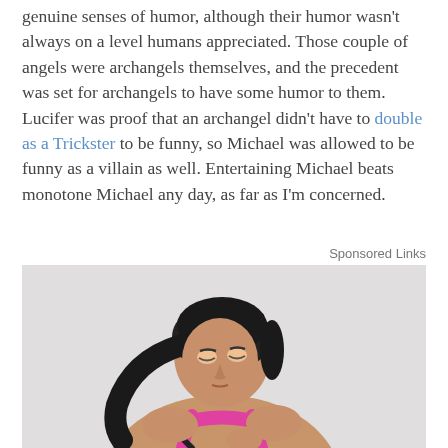genuine senses of humor, although their humor wasn't always on a level humans appreciated. Those couple of angels were archangels themselves, and the precedent was set for archangels to have some humor to them. Lucifer was proof that an archangel didn't have to double as a Trickster to be funny, so Michael was allowed to be funny as a villain as well. Entertaining Michael beats monotone Michael any day, as far as I'm concerned.
Sponsored Links
[Figure (photo): A young woman with dark hair in a ponytail, wearing a pink sports bra, looking downward against a light grey background.]